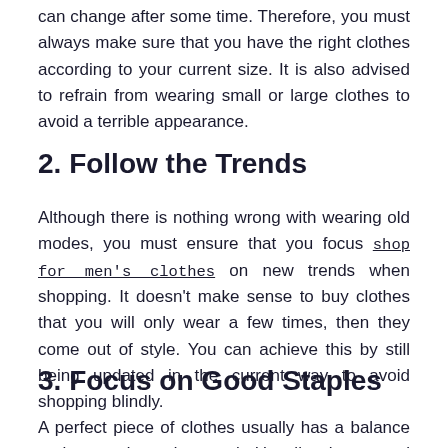can change after some time. Therefore, you must always make sure that you have the right clothes according to your current size. It is also advised to refrain from wearing small or large clothes to avoid a terrible appearance.
2. Follow the Trends
Although there is nothing wrong with wearing old modes, you must ensure that you focus shop for men's clothes on new trends when shopping. It doesn't make sense to buy clothes that you will only wear a few times, then they come out of style. You can achieve this by still being updated in the current way to avoid shopping blindly.
3. Focus on Good Staples
A perfect piece of clothes usually has a balance to be trendy and eternal. Usually, the eternal mode is clothes